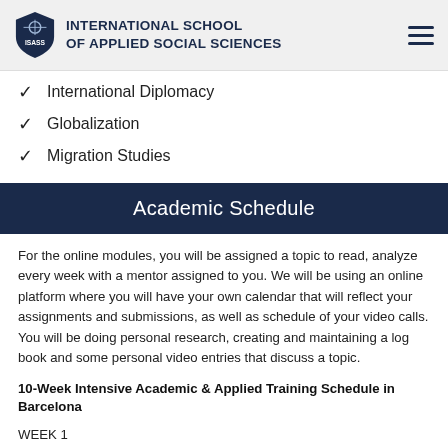INTERNATIONAL SCHOOL OF APPLIED SOCIAL SCIENCES
International Diplomacy
Globalization
Migration Studies
Academic Schedule
For the online modules, you will be assigned a topic to read, analyze every week with a mentor assigned to you. We will be using an online platform where you will have your own calendar that will reflect your assignments and submissions, as well as schedule of your video calls. You will be doing personal research, creating and maintaining a log book and some personal video entries that discuss a topic.
10-Week Intensive Academic & Applied Training Schedule in Barcelona
WEEK 1
Communication in a multi-cultural environment